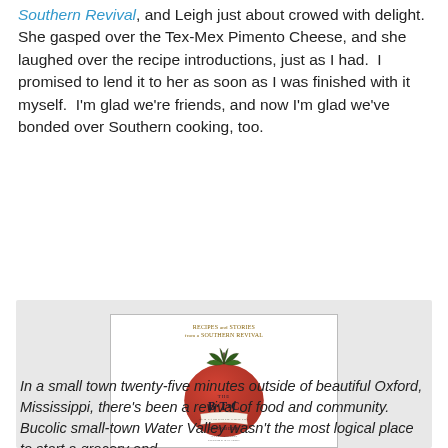Southern Revival, and Leigh just about crowed with delight. She gasped over the Tex-Mex Pimento Cheese, and she laughed over the recipe introductions, just as I had.  I promised to lend it to her as soon as I was finished with it myself.  I'm glad we're friends, and now I'm glad we've bonded over Southern cooking, too.
[Figure (photo): Book cover of 'The B·T·C Old-Fashioned Grocery Cookbook' featuring a large red tomato illustration with the text 'Recipes and Stories from a Southern Revival' at the top, and author names 'Alexe Van Beuren' and 'with writing by Dixie Grimes' at the bottom.]
In a small town twenty-five minutes outside of beautiful Oxford, Mississippi, there's been a revival of food and community. Bucolic small-town Water Valley wasn't the most logical place to start a grocery and